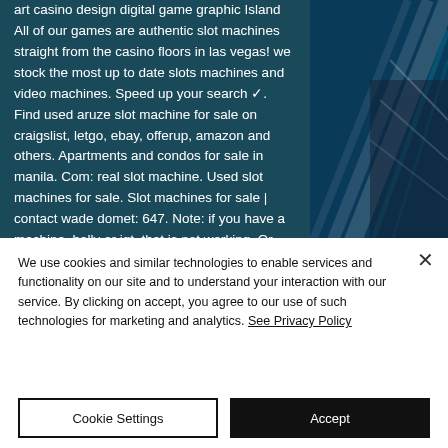[Figure (screenshot): Top portion of a webpage showing a teal/dark background text area on the left with white text about slot machines and casino content, and a decorative dark blue/teal digital graphic on the right side.]
art casino design digital game graphic Island All of our games are authentic slot machines straight from the casino floors in las vegas! we stock the most up to date slots machines and video machines. Speed up your search ✓. Find used aruze slot machine for sale on craigslist, letgo, ebay, offerup, amazon and others. Apartments and condos for sale in manila. Com: real slot machine. Used slot machines for sale. Slot machines for sale | contact wade domet: 647. Note: if you have a machine, bally or igt, that is not working. Or contact the national gambling helpline.
We use cookies and similar technologies to enable services and functionality on our site and to understand your interaction with our service. By clicking on accept, you agree to our use of such technologies for marketing and analytics. See Privacy Policy